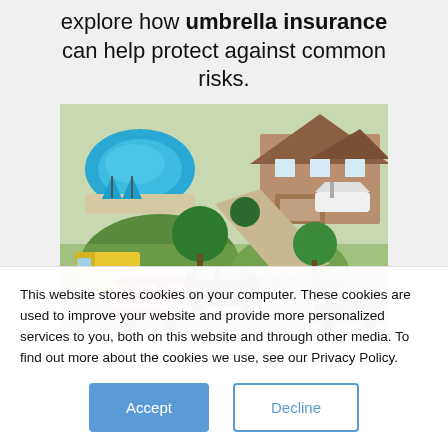explore how umbrella insurance can help protect against common risks.
[Figure (illustration): Aerial/isometric illustration of a residential property with a swimming pool, large house, boat in driveway, green lawn, trees, and emergency/911 vehicle scene with cars in the lower portion]
This website stores cookies on your computer. These cookies are used to improve your website and provide more personalized services to you, both on this website and through other media. To find out more about the cookies we use, see our Privacy Policy.
Accept
Decline